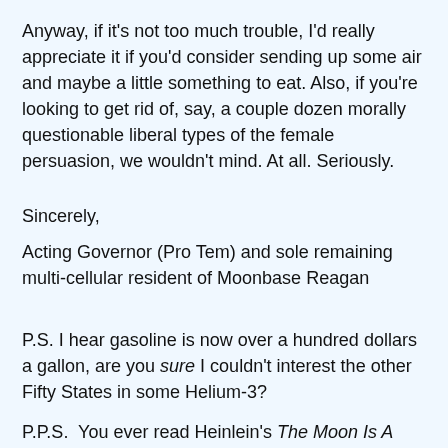Anyway, if it's not too much trouble, I'd really appreciate it if you'd consider sending up some air and maybe a little something to eat. Also, if you're looking to get rid of, say, a couple dozen morally questionable liberal types of the female persuasion, we wouldn't mind. At all. Seriously.
Sincerely,
Acting Governor (Pro Tem) and sole remaining multi-cellular resident of Moonbase Reagan
P.S. I hear gasoline is now over a hundred dollars a gallon, are you sure I couldn't interest the other Fifty States in some Helium-3?
P.P.S.  You ever read Heinlein's The Moon Is A Harsh Mistress?  Remember the part about the linear accelerator?  No? Pity.
P.P.P.S.  Hey, I can see your house from here! Why do I